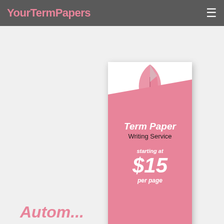YourTermPapers
[Figure (illustration): Advertisement banner for EssayLib.com Term Paper Writing Service, starting at $15 per page, with pink and white design and feather logo]
Autom...